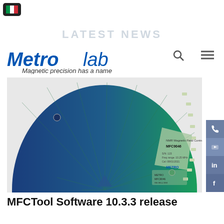[Figure (logo): Italian flag button icon top-left corner]
LATEST NEWS
[Figure (logo): Metrolab logo with tagline 'Magnetic precision has a name']
[Figure (photo): MFC9046 NMR magnetic field controller PCB board, semicircular green PCB with blue gradient]
MFCTool Software 10.3.3 release